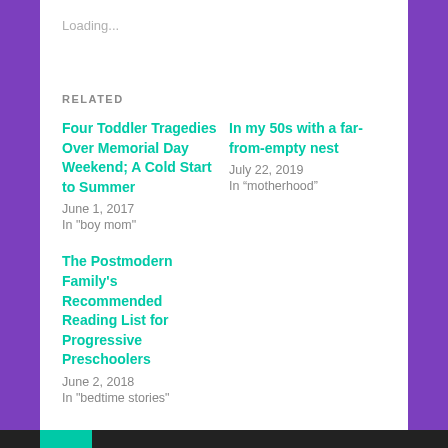Loading...
RELATED
Four Toddler Tragedies Over Memorial Day Weekend; A Cold Start to Summer
June 1, 2017
In "boy mom"
In my 50s with a far-from-empty nest
July 22, 2019
In “motherhood”
The Postmodern Family's Recommended Reading List for Progressive Preschoolers
June 2, 2018
In "bedtime stories"